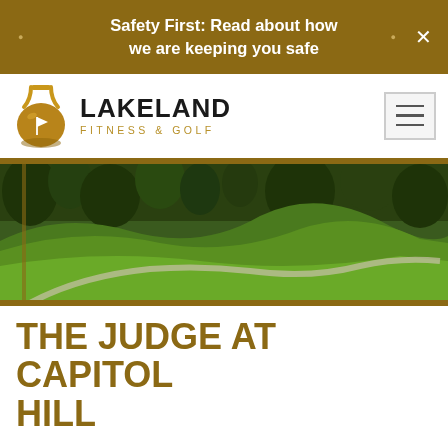Safety First: Read about how we are keeping you safe
[Figure (logo): Lakeland Fitness & Golf logo with kettlebell/golf ball icon]
[Figure (photo): Aerial view of a green golf course fairway with hills and trees]
THE JUDGE AT CAPITOL HILL
Located in Pratville, Alabama, Capitol Hill is one of the